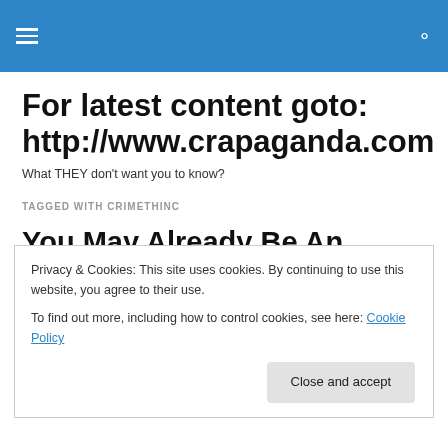For latest content goto: http://www.crapaganda.com
What THEY don't want you to know?
TAGGED WITH CRIMETHINC
You May Already Be An
Privacy & Cookies: This site uses cookies. By continuing to use this website, you agree to their use.
To find out more, including how to control cookies, see here: Cookie Policy